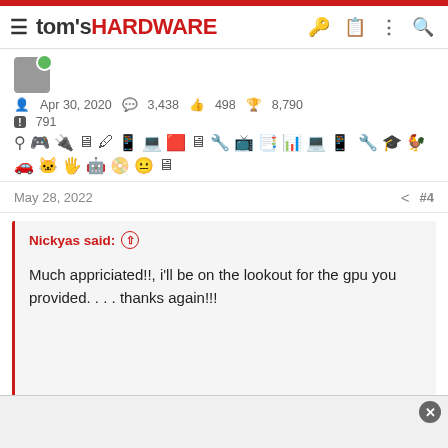tom's HARDWARE
Apr 30, 2020  3,438  498  8,790  791
May 28, 2022  #4
Nickyas said: ↑
Much appriciated!!, i'll be on the lookout for the gpu you provided. . . . thanks again!!!